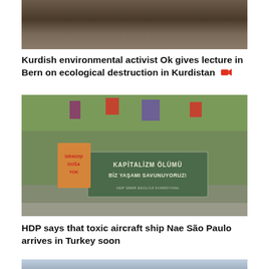[Figure (photo): Top partial photo, cropped at top of frame showing people at an event]
Kurdish environmental activist Ok gives lecture in Bern on ecological destruction in Kurdistan 🎥
[Figure (photo): Protest march with people holding a banner reading 'KAPİTALİZM ÖLÜMÜ BİZ YAŞAMI SAVUNUYORUZ! HDP İZMİR EKOLOJİ KOMİSYONU' and other signs, trees and street visible in background]
HDP says that toxic aircraft ship Nae São Paulo arrives in Turkey soon
[Figure (photo): Bottom partial photo showing blue-grey sky/haze, partially visible at bottom of page]